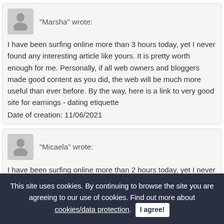"Marsha" wrote:
I have been surfing online more than 3 hours today, yet I never found any interesting article like yours. It is pretty worth enough for me. Personally, if all web owners and bloggers made good content as you did, the web will be much more useful than ever before. By the way, here is a link to very good site for earnings - dating etiquette
Date of creation: 11/06/2021
"Micaela" wrote:
I have been surfing online more than 2 hours today, yet I never found any interesting article like yours. It is pretty worth enough for me. In my view, if all webmasters and bloggers made good content as you did, the web will be much more useful than ever before. By the way, here is a link to use
This site uses cookies. By continuing to browse the site you are agreeing to our use of cookies. Find out more about cookies/data protection. I agree!